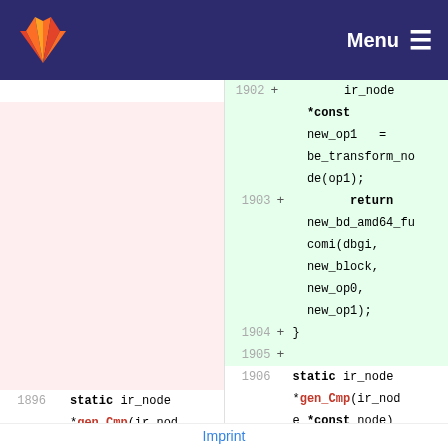GitLab — Menu
[Figure (screenshot): Two-column code diff showing added lines (1902-1905) on the right with green background: ir_node *const new_op1 = be_transform_node(op1); return new_bd_amd64_fucomi(dbgi, new_block, new_op0, new_op1); } and line 1905 empty. Both columns then show line 1896/1906: static ir_node *gen_Cmp(ir_node e *const node), lines 1897/1907: {, lines 1898/1908: ir_node *const op1]
Imprint